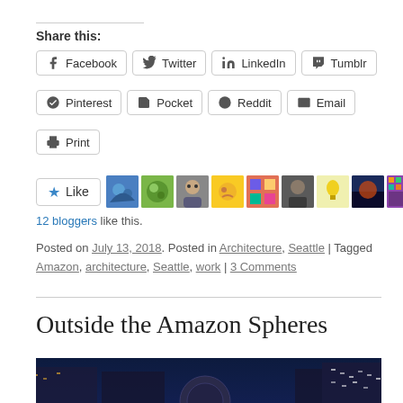Share this:
Facebook
Twitter
LinkedIn
Tumblr
Pinterest
Pocket
Reddit
Email
Print
[Figure (other): Like button with 9 blogger avatars]
12 bloggers like this.
Posted on July 13, 2018. Posted in Architecture, Seattle | Tagged Amazon, architecture, Seattle, work | 3 Comments
Outside the Amazon Spheres
[Figure (photo): Nighttime photo of the Amazon Spheres in Seattle, dark blue sky with building lights]